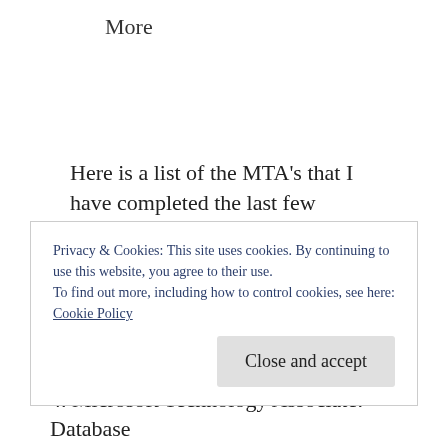More
Here is a list of the MTA's that I have completed the last few months:
1. Microsoft Technology Associate: HTML5 Application Development Fundamentals,
Privacy & Cookies: This site uses cookies. By continuing to use this website, you agree to their use.
To find out more, including how to control cookies, see here:
Cookie Policy
Close and accept
4. Microsoft Technology Associate: Database